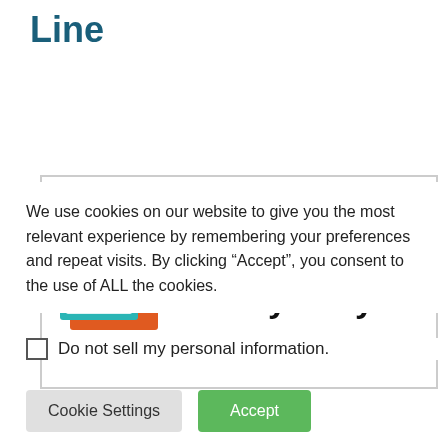Line
[Figure (illustration): StoryADay badge image showing a book/magazine with teal and orange colors and text 'I'm writing a StoryADay']
We use cookies on our website to give you the most relevant experience by remembering your preferences and repeat visits. By clicking “Accept”, you consent to the use of ALL the cookies.
Do not sell my personal information.
Cookie Settings   Accept